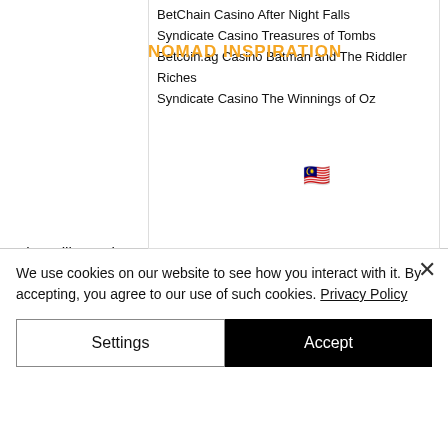[Figure (logo): Dark navy diamond-shaped logo with 'NI' text in gold]
BetChain Casino After Night Falls
NOMAD INSPIRATION (orange overlay banner)
Syndicate Casino Treasures of Tombs
Betcoin.ag Casino Batman and The Riddler Riches
Syndicate Casino The Winnings of Oz
King Billy Casino Age of the Gods Prince of Olympus
OneHash The Giant
Oshi Casino Golden Legend
Oshi Casino Party Time
BitStarz Casino Apollo
https://www.pennvalleyac.com/profile/antalmoundy/profile
We use cookies on our website to see how you interact with it. By accepting, you agree to our use of such cookies. Privacy Policy